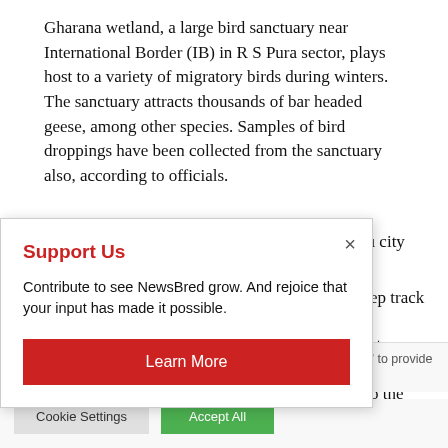Gharana wetland, a large bird sanctuary near International Border (IB) in R S Pura sector, plays host to a variety of migratory birds during winters. The sanctuary attracts thousands of bar headed geese, among other species. Samples of bird droppings have been collected from the sanctuary also, according to officials.
Manda zoo located on extreme north side of Jammu city
ep track
st
es and
o the
[Figure (screenshot): Modal dialog box with red 'Support Us' heading, body text 'Contribute to see NewsBred grow. And rejoice that your input has made it possible.', a red 'Learn More' button, and an X close button in the top right corner.]
use of ALL the cookies. However, you may visit "Cookie Settings" to provide a controlled consent.
Cookie Settings | Accept All